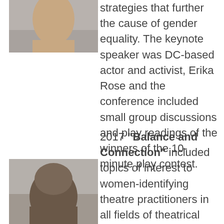[Figure (photo): Headshot photo of a person (cropped at top, showing chin area) against a neutral background]
strategies that further the cause of gender equality. The keynote speaker was DC-based actor and activist, Erika Rose and the conference included small group discussions and play readings of the winners of the 10-minute play contest.
2017 "Balance and Connection" included topics of interest to women-identifying theatre practitioners in all fields of theatrical production including theatre educators, playwrights, performers, designers, and administrators
[Figure (photo): Headshot photo of a person with short gray hair against a neutral background, cropped at bottom]